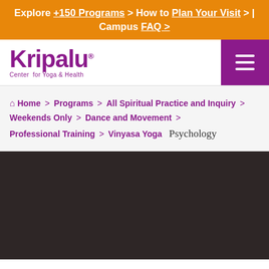Explore +150 Programs > How to Plan Your Visit > | Campus FAQ >
[Figure (logo): Kripalu Center for Yoga & Health logo in purple]
Home > Programs > All Spiritual Practice and Inquiry > Weekends Only > Dance and Movement > Professional Training > Vinyasa Yoga  Psychology
[Figure (photo): Dark brownish-black background area, lower portion of page]